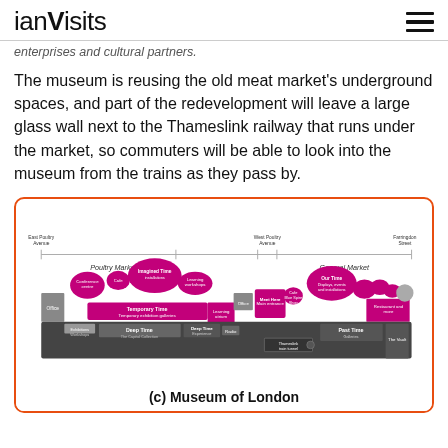ianVisits
enterprises and cultural partners.
The museum is reusing the old meat market's underground spaces, and part of the redevelopment will leave a large glass wall next to the Thameslink railway that runs under the market, so commuters will be able to look into the museum from the trains as they pass by.
[Figure (infographic): Cross-section diagram of Museum of London layout showing Poultry Market and General Market sections with areas labeled: East Poultry Avenue, West Poultry Avenue, Farringdon Street, Conference centre, Cafe, Imagined Time, Learning workshops, Office, Temporary Time, Temporary exhibition galleries, Learning atrium, Meet Here Main entrance, Cafe, Blue Spire Shop, Our Time, Deep Time, Deep Time Experience, Radio, Thameslink train tunnel, Past Time Galleries, Restaurant and more, The Vault]
(c) Museum of London